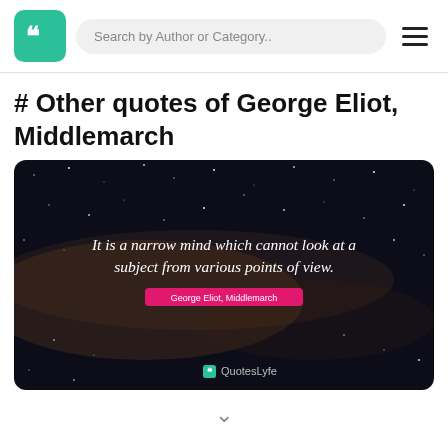Search by Author or Category..
# Other quotes of George Eliot, Middlemarch
[Figure (illustration): Quote card with dark starfield background showing the text: 'It is a narrow mind which cannot look at a subject from various points of view.' attributed to George Eliot, Middlemarch, with QuotesLyfe branding at the bottom.]